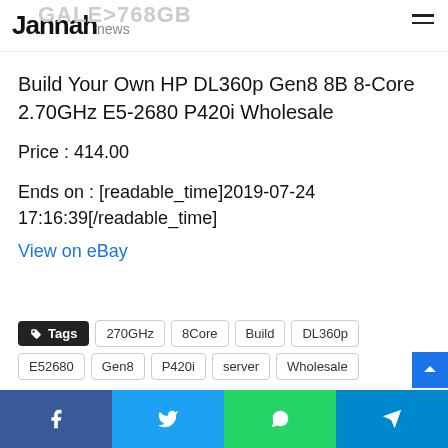Jannah news
Build Your Own HP DL360p Gen8 8B 8-Core 2.70GHz E5-2680 P420i Wholesale
Price : 414.00
Ends on : [readable_time]2019-07-24 17:16:39[/readable_time]
View on eBay
Tags: 270GHz, 8Core, Build, DL360p, E52680, Gen8, P420i, server, Wholesale
Facebook Twitter WhatsApp Telegram